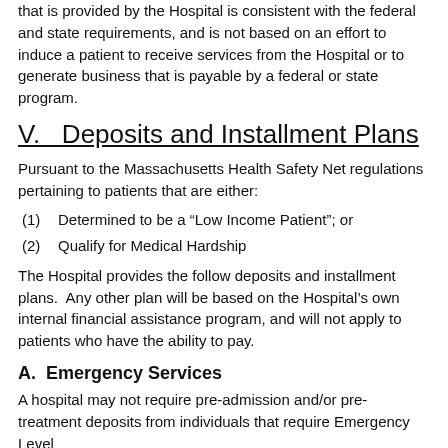that is provided by the Hospital is consistent with the federal and state requirements, and is not based on an effort to induce a patient to receive services from the Hospital or to generate business that is payable by a federal or state program.
V.   Deposits and Installment Plans
Pursuant to the Massachusetts Health Safety Net regulations pertaining to patients that are either:
(1)    Determined to be a “Low Income Patient”; or
(2)    Qualify for Medical Hardship
The Hospital provides the follow deposits and installment plans.  Any other plan will be based on the Hospital’s own internal financial assistance program, and will not apply to patients who have the ability to pay.
A.  Emergency Services
A hospital may not require pre-admission and/or pre-treatment deposits from individuals that require Emergency Level